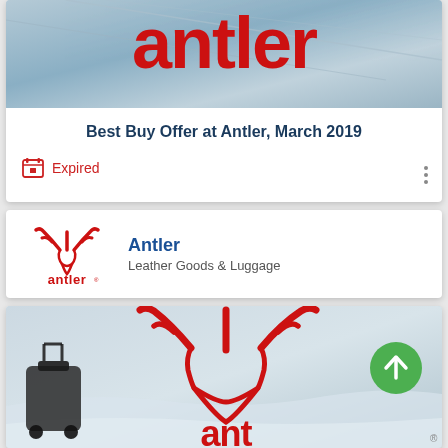[Figure (screenshot): Antler brand banner image at top of card, showing partial antler logo text in red on a light blue/grey background]
Best Buy Offer at Antler, March 2019
Expired
[Figure (logo): Antler brand logo: red antler/stag head silhouette above the word 'antler' in red lowercase text]
Antler
Leather Goods & Luggage
[Figure (screenshot): Antler promotional image showing luggage and large red antler logo on snowy/white background, with green FAB up-arrow button]